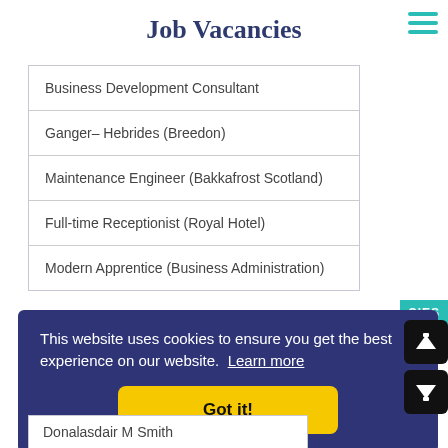Job Vacancies
Business Development Consultant
Ganger– Hebrides (Breedon)
Maintenance Engineer (Bakkafrost Scotland)
Full-time Receptionist (Royal Hotel)
Modern Apprentice (Business Administration)
This website uses cookies to ensure you get the best experience on our website. Learn more
Got it!
Donalasdair M Smith